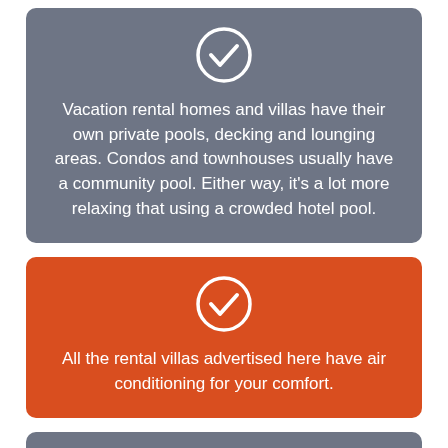Vacation rental homes and villas have their own private pools, decking and lounging areas. Condos and townhouses usually have a community pool. Either way, it's a lot more relaxing that using a crowded hotel pool.
All the rental villas advertised here have air conditioning for your comfort.